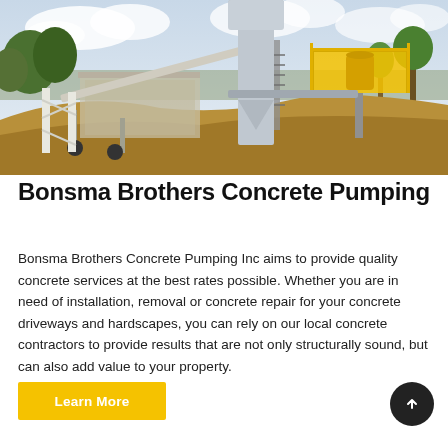[Figure (photo): Concrete batching plant / concrete pumping facility with a large cylindrical silo, yellow metal platform, conveyor belt structure, and earthen mound in the foreground, with trees and cloudy sky in the background.]
Bonsma Brothers Concrete Pumping
Bonsma Brothers Concrete Pumping Inc aims to provide quality concrete services at the best rates possible. Whether you are in need of installation, removal or concrete repair for your concrete driveways and hardscapes, you can rely on our local concrete contractors to provide results that are not only structurally sound, but can also add value to your property.
Learn More